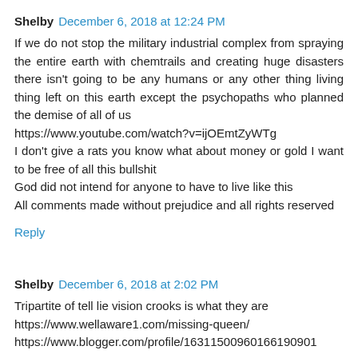Shelby  December 6, 2018 at 12:24 PM
If we do not stop the military industrial complex from spraying the entire earth with chemtrails and creating huge disasters there isn't going to be any humans or any other thing living thing left on this earth except the psychopaths who planned the demise of all of us
https://www.youtube.com/watch?v=ijOEmtZyWTg
I don't give a rats you know what about money or gold I want to be free of all this bullshit
God did not intend for anyone to have to live like this
All comments made without prejudice and all rights reserved
Reply
Shelby  December 6, 2018 at 2:02 PM
Tripartite of tell lie vision crooks is what they are
https://www.wellaware1.com/missing-queen/
https://www.blogger.com/profile/1631150096016619090​1